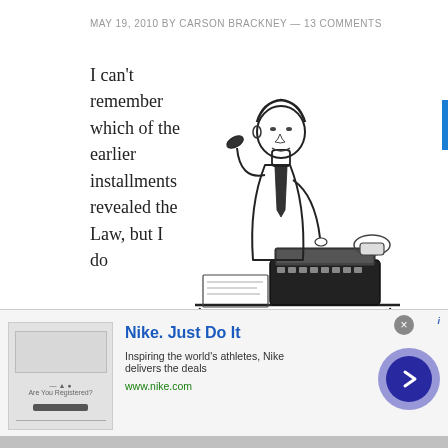MAY 19, 2010 BY CARSON BRACKNEY — 13 COMMENTS
[Figure (illustration): Vintage black and white line drawing of a man in business attire sitting at a desk, talking on a telephone, with a typewriter in front of him and papers on the desk.]
I can't remember which of the earlier installments revealed the Law, but I do remember Virgil teaching it to others in Battle for the Planet o the Apes.
Ape shall never kill ape.
[Figure (infographic): Infolinks advertisement banner showing a Nike ad. Nike. Just Do It. Inspiring the world's athletes, Nike delivers the deals. www.nike.com]